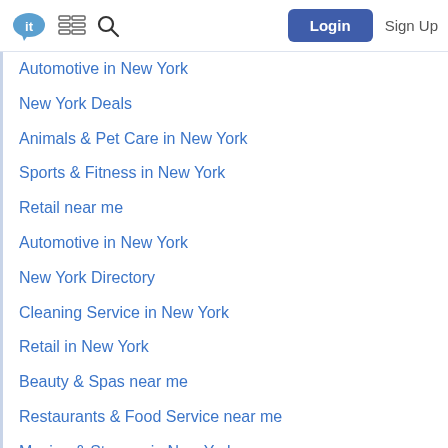Login | Sign Up
Automotive in New York
New York Deals
Animals & Pet Care in New York
Sports & Fitness in New York
Retail near me
Automotive in New York
New York Directory
Cleaning Service in New York
Retail in New York
Beauty & Spas near me
Restaurants & Food Service near me
Moving & Storage in New York
Sports & Fitness near me
Art & Photography near me
New York Events
Flowers & Florists in New York
Cleaning Service near me